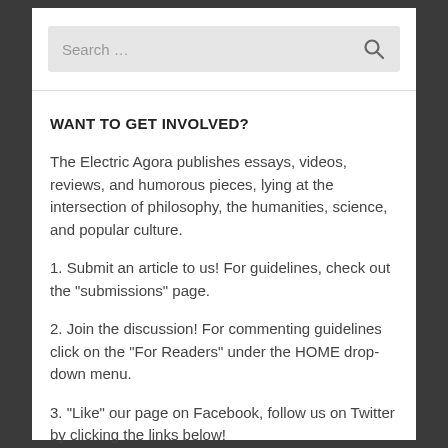[Figure (screenshot): Search bar with placeholder text 'Search ...' and a search icon on the right, on a light gray background]
WANT TO GET INVOLVED?
The Electric Agora publishes essays, videos, reviews, and humorous pieces, lying at the intersection of philosophy, the humanities, science, and popular culture.
1. Submit an article to us! For guidelines, check out the "submissions" page.
2. Join the discussion! For commenting guidelines click on the "For Readers" under the HOME drop-down menu.
3. "Like" our page on Facebook, follow us on Twitter by clicking the links below!